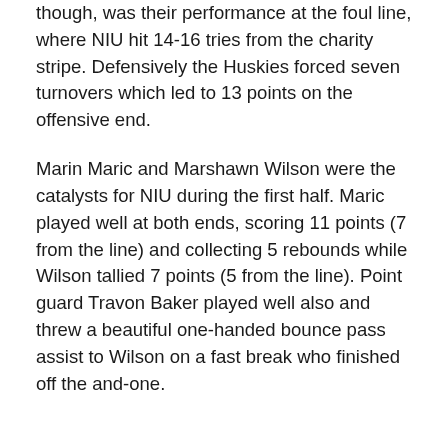though, was their performance at the foul line, where NIU hit 14-16 tries from the charity stripe. Defensively the Huskies forced seven turnovers which led to 13 points on the offensive end.
Marin Maric and Marshawn Wilson were the catalysts for NIU during the first half. Maric played well at both ends, scoring 11 points (7 from the line) and collecting 5 rebounds while Wilson tallied 7 points (5 from the line). Point guard Travon Baker played well also and threw a beautiful one-handed bounce pass assist to Wilson on a fast break who finished off the and-one.